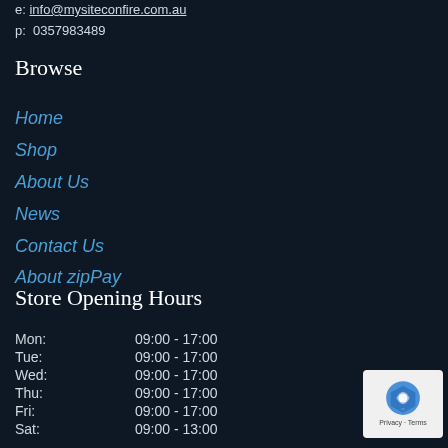e: info@mysiteconfire.com.au
p: 0357983489
Browse
Home
Shop
About Us
News
Contact Us
About zipPay
Store Opening Hours
| Day | Hours |
| --- | --- |
| Mon: | 09:00 - 17:00 |
| Tue: | 09:00 - 17:00 |
| Wed: | 09:00 - 17:00 |
| Thu: | 09:00 - 17:00 |
| Fri: | 09:00 - 17:00 |
| Sat: | 09:00 - 13:00 |